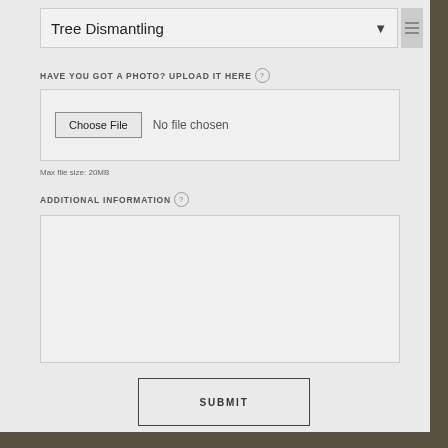Tree Dismantling
HAVE YOU GOT A PHOTO? UPLOAD IT HERE
[Figure (screenshot): File upload input showing 'Choose File' button and 'No file chosen' text]
Max file size: 20MB
ADDITIONAL INFORMATION
[Figure (screenshot): Empty textarea input field for additional information]
SUBMIT